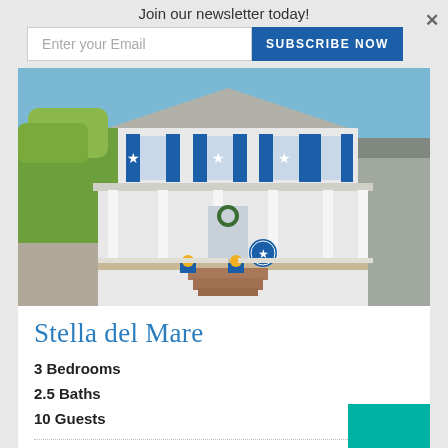Join our newsletter today!
Enter your Email
SUBSCRIBE NOW
[Figure (photo): Exterior photo of a white two-story beach house with blue shutters decorated with white stars, a covered front porch with white columns, brick front steps with flower pots, and a circular blue star sign on the front. Trees visible on the left and a neighboring gray house on the right.]
Stella del Mare
3 Bedrooms
2.5 Baths
10 Guests
Chincoteague Island  •  South Main  •